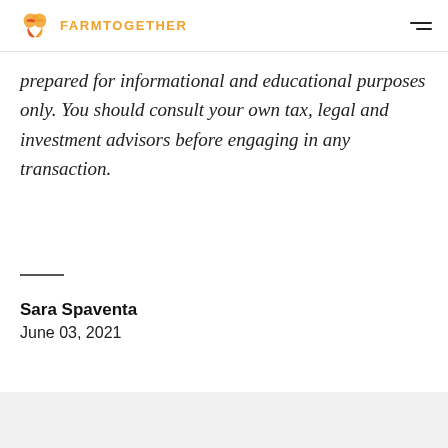FARMTOGETHER
prepared for informational and educational purposes only. You should consult your own tax, legal and investment advisors before engaging in any transaction.
Sara Spaventa
June 03, 2021